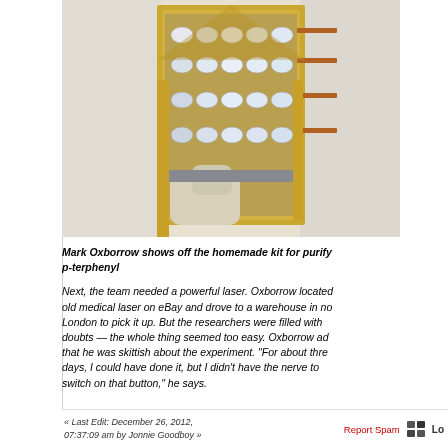[Figure (photo): Person in white lab coat holding a homemade scientific apparatus with gold/metallic frame, crystal components arranged in rows, and copper tubes — a purification kit for p-terphenyl.]
Mark Oxborrow shows off the homemade kit for purify p-terphenyl
Next, the team needed a powerful laser. Oxborrow located old medical laser on eBay and drove to a warehouse in no London to pick it up. But the researchers were filled with doubts — the whole thing seemed too easy. Oxborrow ad that he was skittish about the experiment. "For about thre days, I could have done it, but I didn't have the nerve to switch on that button," he says.
« Last Edit: December 26, 2012, 07:37:09 am by Jonnie Goodboy »   Report Spam  Lo